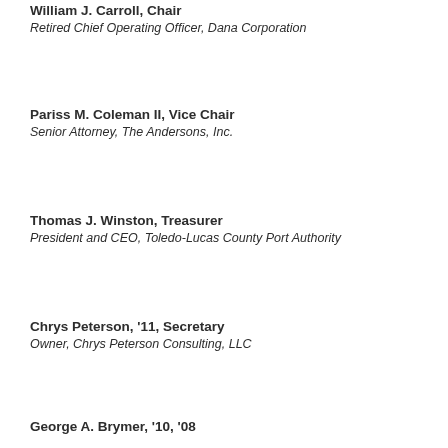William J. Carroll, Chair
Retired Chief Operating Officer, Dana Corporation
Pariss M. Coleman II, Vice Chair
Senior Attorney, The Andersons, Inc.
Thomas J. Winston, Treasurer
President and CEO, Toledo-Lucas County Port Authority
Chrys Peterson, '11, Secretary
Owner, Chrys Peterson Consulting, LLC
George A. Brymer, '10, '08